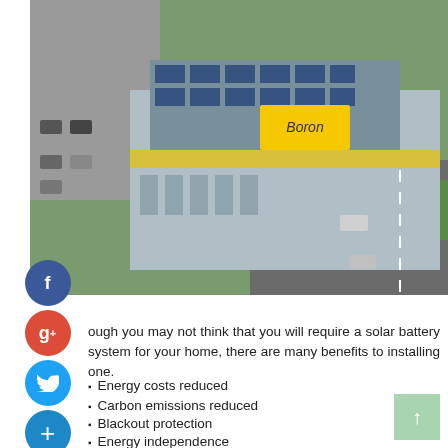[Figure (photo): Aerial view of a commercial building with solar panels on the roof, a parking lot with cars, and a road with traffic in front.]
ough you may not think that you will require a solar battery system for your home, there are many benefits to installing one.
Energy costs reduced
Carbon emissions reduced
Blackout protection
Energy independence